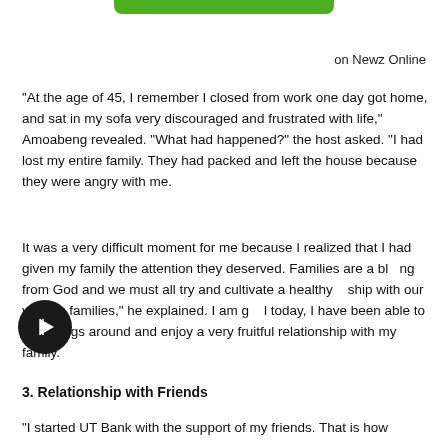[Figure (other): Green rounded bar at top center of page]
on Newz Online
“At the age of 45, I remember I closed from work one day got home, and sat in my sofa very discouraged and frustrated with life,” Amoabeng revealed. “What had happened?” the host asked. “I had lost my entire family. They had packed and left the house because they were angry with me.
It was a very difficult moment for me because I realized that I had given my family the attention they deserved. Families are a blessing from God and we must all try and cultivate a healthy relationship with our various families,” he explained. I am grateful today, I have been able to turn things around and enjoy a very fruitful relationship with my family.
[Figure (other): Black circular play button icon]
3. Relationship with Friends
“I started UT Bank with the support of my friends. That is how